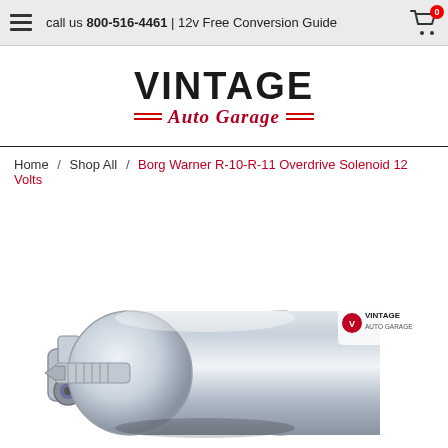call us 800-516-4461 | 12v Free Conversion Guide
[Figure (logo): Vintage Auto Garage logo — 'VINTAGE' in bold black sans-serif above 'Auto Garage' in red italic serif, flanked by double red lines]
Home / Shop All / Borg Warner R-10-R-11 Overdrive Solenoid 12 Volts
[Figure (photo): Product photo of a chrome/silver Borg Warner overdrive solenoid, cylindrical metal part with mounting bracket, with Vintage Auto Garage logo watermark in upper right corner]